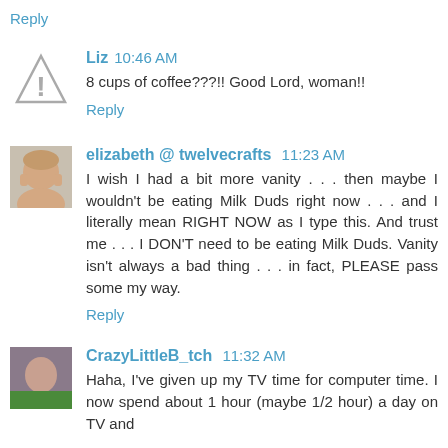Reply
Liz 10:46 AM
8 cups of coffee???!! Good Lord, woman!!
Reply
elizabeth @ twelvecrafts 11:23 AM
I wish I had a bit more vanity . . . then maybe I wouldn't be eating Milk Duds right now . . . and I literally mean RIGHT NOW as I type this. And trust me . . . I DON'T need to be eating Milk Duds. Vanity isn't always a bad thing . . . in fact, PLEASE pass some my way.
Reply
CrazyLittleB_tch 11:32 AM
Haha, I've given up my TV time for computer time. I now spend about 1 hour (maybe 1/2 hour) a day on TV and